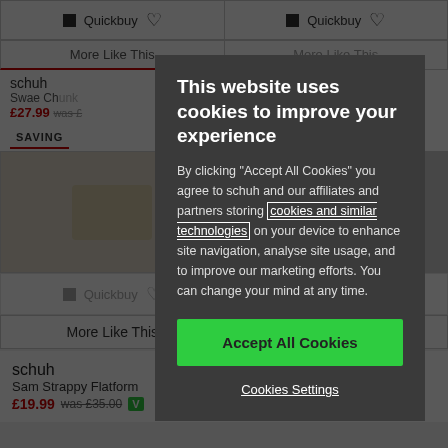[Figure (screenshot): Background e-commerce website showing schuh shoe products with Quickbuy buttons, More Like This links, and product listings for Sam Strappy Flatform and Sian Platform Mule]
This website uses cookies to improve your experience
By clicking "Accept All Cookies" you agree to schuh and our affiliates and partners storing cookies and similar technologies on your device to enhance site navigation, analyse site usage, and to improve our marketing efforts. You can change your mind at any time.
Accept All Cookies
Cookies Settings